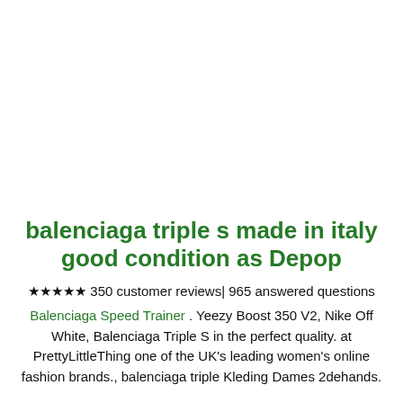balenciaga triple s made in italy good condition as Depop
★★★★★ 350 customer reviews| 965 answered questions
Balenciaga Speed Trainer . Yeezy Boost 350 V2, Nike Off White, Balenciaga Triple S in the perfect quality. at PrettyLittleThing one of the UK's leading women's online fashion brands., balenciaga triple Kleding Dames 2dehands.